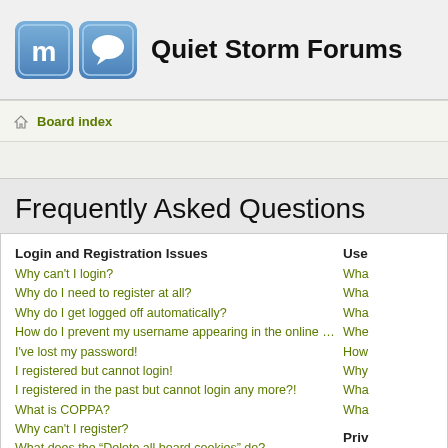Quiet Storm Forums
Board index
Frequently Asked Questions
Login and Registration Issues
Why can't I login?
Why do I need to register at all?
Why do I get logged off automatically?
How do I prevent my username appearing in the online user listings?
I've lost my password!
I registered but cannot login!
I registered in the past but cannot login any more?!
What is COPPA?
Why can't I register?
What does the "Delete all board cookies" do?
User Preferences and settings
How do I change my settings?
The times are not correct!
I changed the timezone and the time is still wrong!
My language is not in the list!
User Levels and Groups (partial)
Wha... Wha... Wha... Whe... How... Why... Wha... Wha...
Private Messaging (partial)
I can... I kee... I hav... boar...